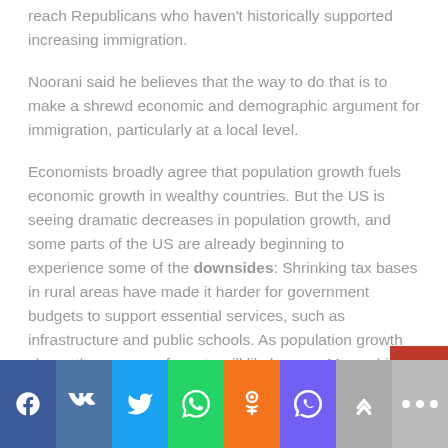reach Republicans who haven't historically supported increasing immigration.
Noorani said he believes that the way to do that is to make a shrewd economic and demographic argument for immigration, particularly at a local level.
Economists broadly agree that population growth fuels economic growth in wealthy countries. But the US is seeing dramatic decreases in population growth, and some parts of the US are already beginning to experience some of the downsides: Shrinking tax bases in rural areas have made it harder for government budgets to support essential services, such as infrastructure and public schools. As population growth slows, the pressure for cuts will likely grow. Meanwhile, the existing population continues to age; by 2030, the Census Bureau estimates that one in five US residents will be of retirement age.
Social share bar: Facebook, VK, Twitter, WhatsApp, OK, Viber, Up, More